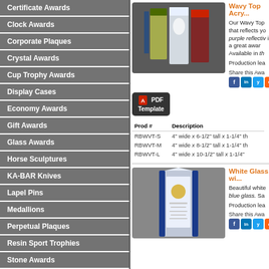Certificate Awards
Clock Awards
Corporate Plaques
Crystal Awards
Cup Trophy Awards
Display Cases
Economy Awards
Gift Awards
Glass Awards
Horse Sculptures
KA-BAR Knives
Lapel Pins
Medallions
Perpetual Plaques
Resin Sport Trophies
Stone Awards
Trophies | Resin
Wavy Top Acry...
Our Wavy Top that reflects yo purple reflectiv is a great awar Available in th
Production lea
Share this Awa
| Prod # | Description |
| --- | --- |
| RBWVT-S | 4" wide x 6-1/2" tall x 1-1/4" th |
| RBWVT-M | 4" wide x 8-1/2" tall x 1-1/4" th |
| RBWVT-L | 4" wide x 10-1/2" tall x 1-1/4" |
[Figure (photo): Wavy Top Acrylic awards in multiple colors - blue, gold, red]
White Glass wi...
Beautiful white blue glass. Sa
Production lea
Share this Awa
[Figure (photo): White glass award with blue trim featuring Focus award logo]